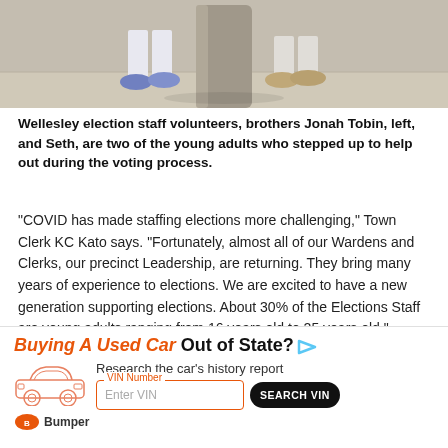[Figure (photo): Photo showing feet/legs of two people standing near a cylindrical pole on a sidewalk; one person wearing blue/purple sneakers, the other wearing tan/beige shoes.]
Wellesley election staff volunteers, brothers Jonah Tobin, left, and Seth, are two of the young adults who stepped up to help out during the voting process.
“COVID has made staffing elections more challenging,” Town Clerk KC Kato says. “Fortunately, almost all of our Wardens and Clerks, our precinct Leadership, are returning. They bring many years of experience to elections. We are excited to have a new generation supporting elections. About 30% of the Elections Staff are young adults ranging from 16 years old to 25 years old.”
Re...
[Figure (advertisement): Bumper advertisement: 'Buying A Used Car Out of State?' with car illustration, VIN Number input field, and SEARCH VIN button.]